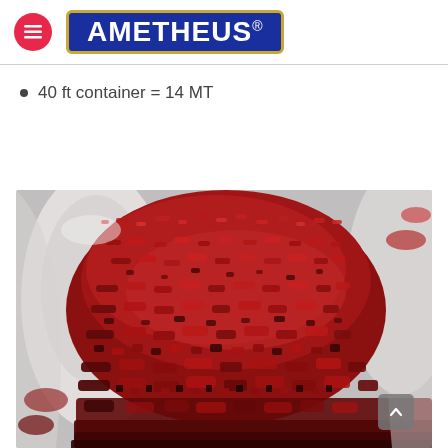AMETHEUS®
40 ft container = 14 MT
[Figure (photo): Close-up photo of dried red chili peppers (dark red, curly, finely textured) in a white bowl, with scattered chilies in the background, black and white surroundings.]